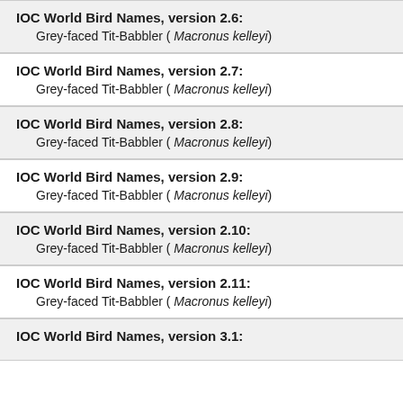IOC World Bird Names, version 2.6: Grey-faced Tit-Babbler ( Macronus kelleyi)
IOC World Bird Names, version 2.7: Grey-faced Tit-Babbler ( Macronus kelleyi)
IOC World Bird Names, version 2.8: Grey-faced Tit-Babbler ( Macronus kelleyi)
IOC World Bird Names, version 2.9: Grey-faced Tit-Babbler ( Macronus kelleyi)
IOC World Bird Names, version 2.10: Grey-faced Tit-Babbler ( Macronus kelleyi)
IOC World Bird Names, version 2.11: Grey-faced Tit-Babbler ( Macronus kelleyi)
IOC World Bird Names, version 3.1: